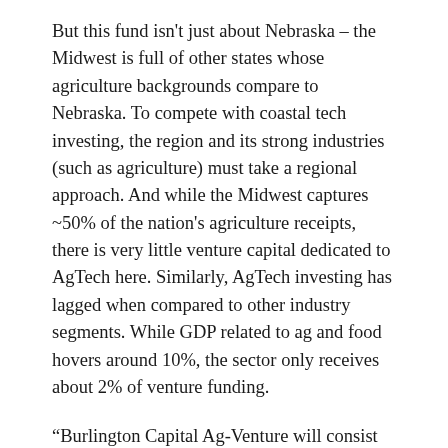But this fund isn't just about Nebraska – the Midwest is full of other states whose agriculture backgrounds compare to Nebraska. To compete with coastal tech investing, the region and its strong industries (such as agriculture) must take a regional approach. And while the Midwest captures ~50% of the nation's agriculture receipts, there is very little venture capital dedicated to AgTech here. Similarly, AgTech investing has lagged when compared to other industry segments. While GDP related to ag and food hovers around 10%, the sector only receives about 2% of venture funding.
“Burlington Capital Ag-Venture will consist of active and like-minded investors who are interested in providing capital as well as guidance to help these companies and develop and support a larger, more robust AgTech ecosystem. Ultimately, Burlington Capital Ag-Venture will take advantage of the region’s strong agriculture history, knowledge, partners, and innovation, to exponentially…